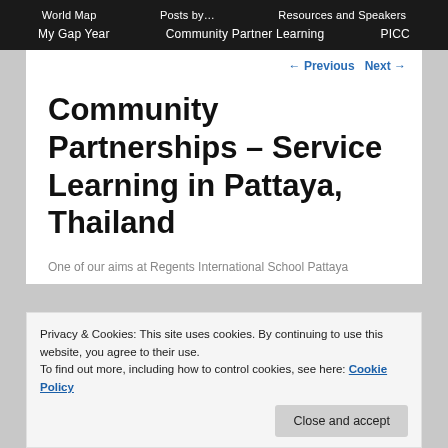World Map | Posts by... | Resources and Speakers
My Gap Year | Community Partner Learning | PICC
← Previous   Next →
Community Partnerships – Service Learning in Pattaya, Thailand
Privacy & Cookies: This site uses cookies. By continuing to use this website, you agree to their use. To find out more, including how to control cookies, see here: Cookie Policy
Close and accept
One of our aims at Regents International School Pattaya